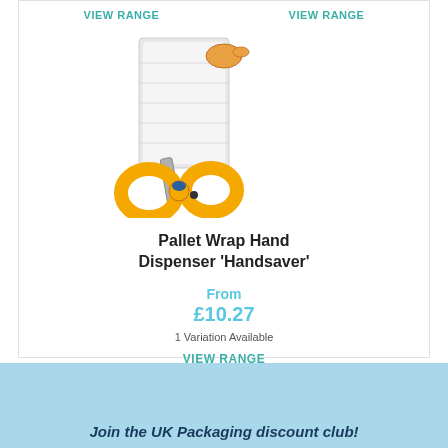VIEW RANGE
VIEW RANGE
[Figure (photo): Pallet wrap hand dispenser 'Handsaver' product — a grey roll of stretch wrap film on an orange hand dispenser with yellow/blue ergonomic handles]
Pallet Wrap Hand Dispenser 'Handsaver'
From
£10.27
1 Variation Available
VIEW RANGE
Join the UK Packaging discount club!